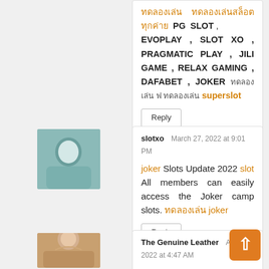EVOPLAY , SLOT XO , PRAGMATIC PLAY , JILI GAME , RELAX GAMING , DAFABET , JOKER ทดลองเล่น ฟ ทดลองเล่น superslot
Reply
slotxo   March 27, 2022 at 9:01 PM
joker Slots Update 2022 slot All members can easily access the Joker camp slots. ทดลองเล่น joker
Reply
The Genuine Leather   April 2, 2022 at 4:47 AM
Hello, thank you for sharing your article with us and I truly value your information, which I really appreciate, and I would visit your website